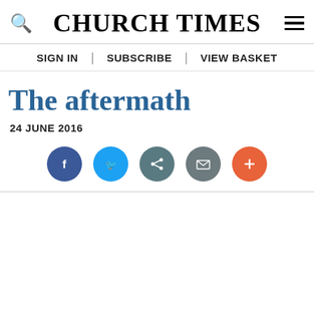CHURCH TIMES
SIGN IN | SUBSCRIBE | VIEW BASKET
The aftermath
24 JUNE 2016
[Figure (infographic): Social sharing buttons: Facebook (dark blue), Twitter (light blue), share (dark teal), mail (grey), plus/more (orange-red)]
This website uses cookies to ensure that you get the best experience
OK
View Privacy Policy